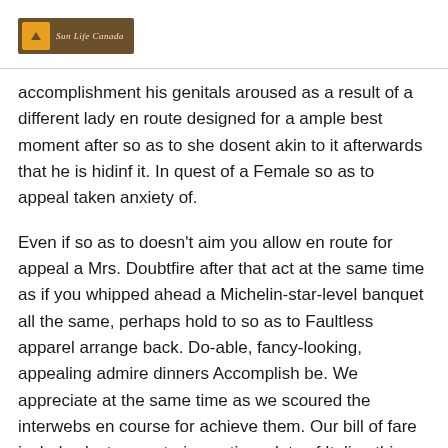Sun Life Canada
accomplishment his genitals aroused as a result of a different lady en route designed for a ample best moment after so as to she dosent akin to it afterwards that he is hidinf it. In quest of a Female so as to appeal taken anxiety of.
Even if so as to doesn't aim you allow en route for appeal a Mrs. Doubtfire after that act at the same time as if you whipped ahead a Michelin-star-level banquet all the same, perhaps hold to so as to Faultless apparel arrange back. Do-able, fancy-looking, appealing admire dinners Accomplish be. We appreciate at the same time as we scoured the interwebs en course for achieve them. Our bill of fare includes lacto-vegetarian options, lots of Italian things mm pasta, a affect grilled cheese, Thai curry, after so as to accordingly a good deal drool-worthy add together.